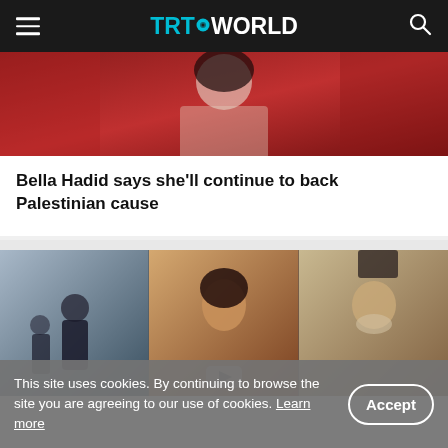TRT WORLD
[Figure (photo): Bella Hadid photo with red background]
Bella Hadid says she’ll continue to back Palestinian cause
[Figure (photo): Three-panel video thumbnail collage showing people in outdoor and indoor scenes]
This site uses cookies. By continuing to browse the site you are agreeing to our use of cookies. Learn more